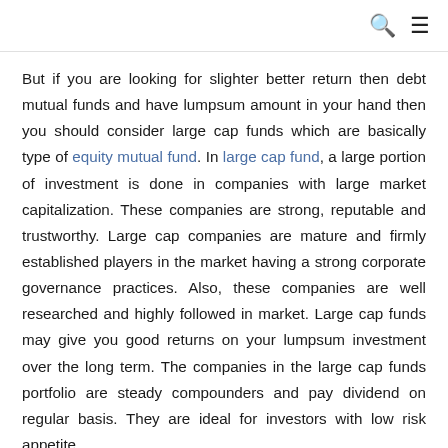🔍 ≡
But if you are looking for slighter better return then debt mutual funds and have lumpsum amount in your hand then you should consider large cap funds which are basically type of equity mutual fund. In large cap fund, a large portion of investment is done in companies with large market capitalization. These companies are strong, reputable and trustworthy. Large cap companies are mature and firmly established players in the market having a strong corporate governance practices. Also, these companies are well researched and highly followed in market. Large cap funds may give you good returns on your lumpsum investment over the long term. The companies in the large cap funds portfolio are steady compounders and pay dividend on regular basis. They are ideal for investors with low risk appetite.
Hope I answered your question.